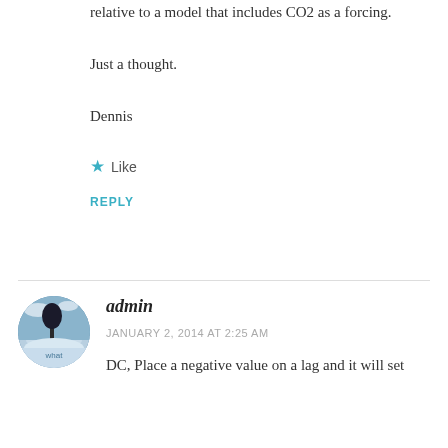relative to a model that includes CO2 as a forcing.
Just a thought.
Dennis
★ Like
REPLY
admin
JANUARY 2, 2014 AT 2:25 AM
DC, Place a negative value on a lag and it will set